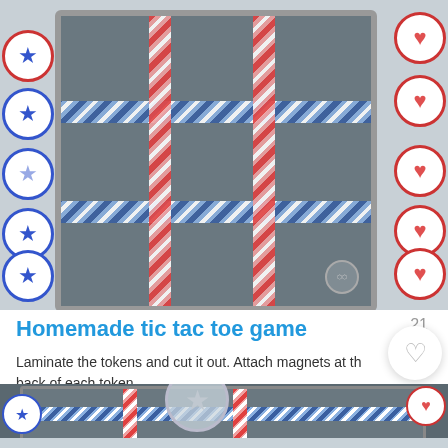[Figure (photo): Homemade tic tac toe game on a metal baking sheet with blue diagonal-striped tape for horizontal lines and red diagonal-striped tape for vertical lines, creating a 3x3 grid. Blue star tokens on the left side and red heart tokens on the right side.]
Homemade tic tac toe game
Laminate the tokens and cut it out. Attach magnets at the back of each token.
[Figure (photo): Partial bottom view of the same tic tac toe game, showing the metal tray with tape grid lines and magnetic tokens, partially cropped. A ghost/pale star token is visible at the bottom center.]